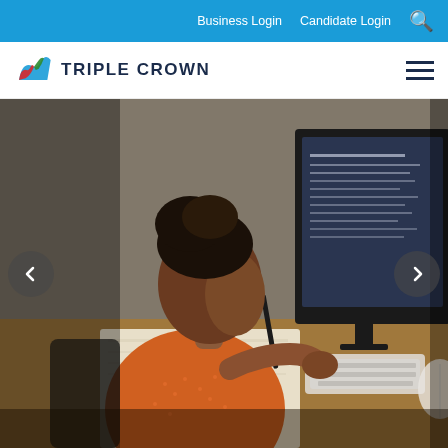Business Login   Candidate Login   🔍
[Figure (logo): Triple Crown logo with stylized crown/wave icon in blue, red, green and the text TRIPLE CROWN]
[Figure (photo): A young Black woman in an orange dotted blouse sitting at a desk, writing in a notebook, with a large computer monitor showing a document in the background, a plant, and books on the desk. Navigation arrows (left and right) are visible on the sides of the image.]